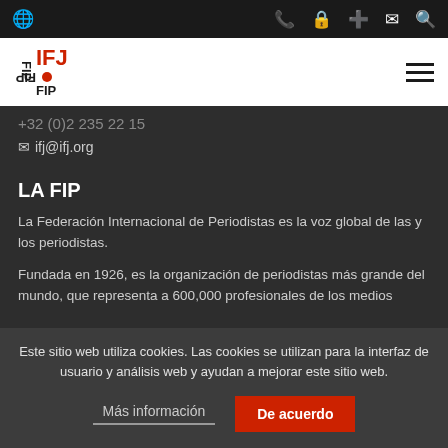IFJ / FIP navigation bar with globe, phone, lock, plus, mail, search icons
[Figure (logo): IFJ FIP logo in red and black on white background with hamburger menu icon]
+32 (0)2 235 22 15
ifj@ifj.org
LA FIP
La Federación Internacional de Periodistas es la voz global de las y los periodistas.
Fundada en 1926, es la organización de periodistas más grande del mundo, que representa a 600,000 profesionales de los medios
Este sitio web utiliza cookies. Las cookies se utilizan para la interfaz de usuario y análisis web y ayudan a mejorar este sitio web.
Más información
De acuerdo